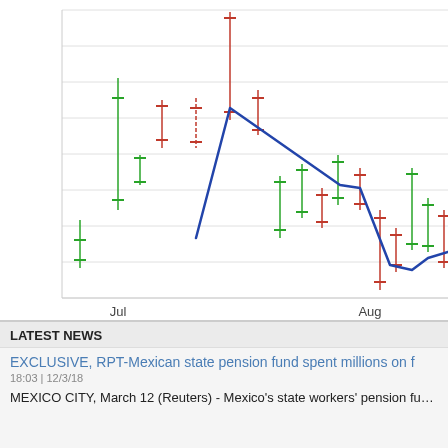[Figure (continuous-plot): Stock candlestick chart with a blue trend line showing price movement from July to August. Candlesticks are shown in green (up) and red (down). The blue line trends upward to a peak around early July then declines sharply through August. X-axis shows 'Jul' and 'Aug' labels.]
LATEST NEWS
EXCLUSIVE, RPT-Mexican state pension fund spent millions on f
18:03 | 12/3/18
MEXICO CITY, March 12 (Reuters) - Mexico's state workers' pension fund plowed